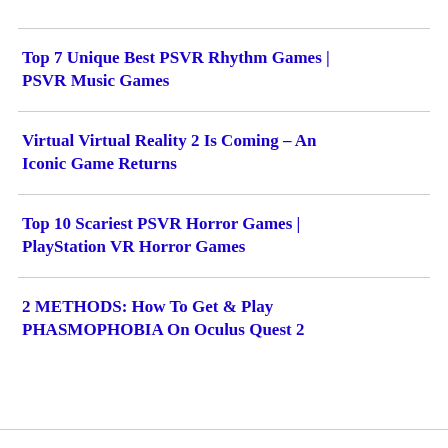Top 7 Unique Best PSVR Rhythm Games | PSVR Music Games
Virtual Virtual Reality 2 Is Coming – An Iconic Game Returns
Top 10 Scariest PSVR Horror Games | PlayStation VR Horror Games
2 METHODS: How To Get & Play PHASMOPHOBIA On Oculus Quest 2